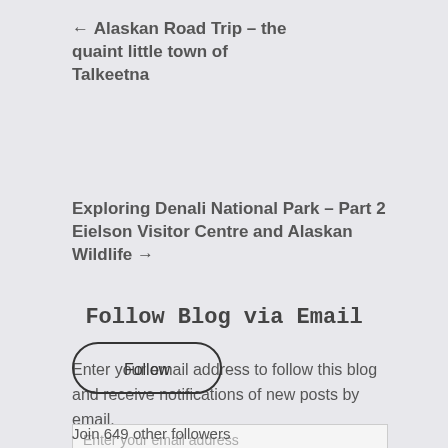← Alaskan Road Trip – the quaint little town of Talkeetna
Exploring Denali National Park – Part 2 Eielson Visitor Centre and Alaskan Wildlife →
Follow Blog via Email
Enter your email address to follow this blog and receive notifications of new posts by email.
Enter your email address
Follow
Join 649 other followers